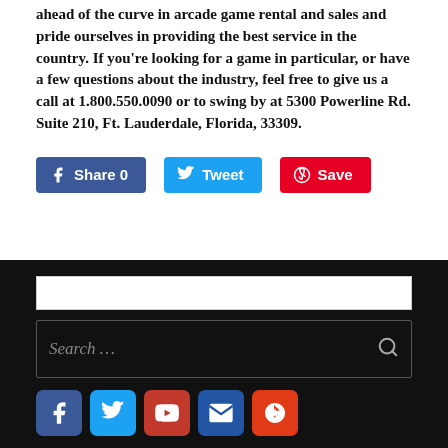ahead of the curve in arcade game rental and sales and pride ourselves in providing the best service in the country. If you're looking for a game in particular, or have a few questions about the industry, feel free to give us a call at 1.800.550.0090 or to swing by at 5300 Powerline Rd. Suite 210, Ft. Lauderdale, Florida, 33309.
[Figure (other): Social sharing buttons: Facebook Share 0, Tweet, Pinterest Save]
[Figure (other): Search bar on dark background with search icon, followed by social media icon row: Facebook, Twitter, YouTube, Mail, Yelp]